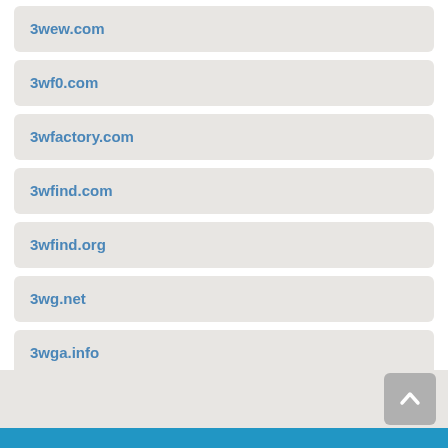3wew.com
3wf0.com
3wfactory.com
3wfind.com
3wfind.org
3wg.net
3wga.info
3wgame.com